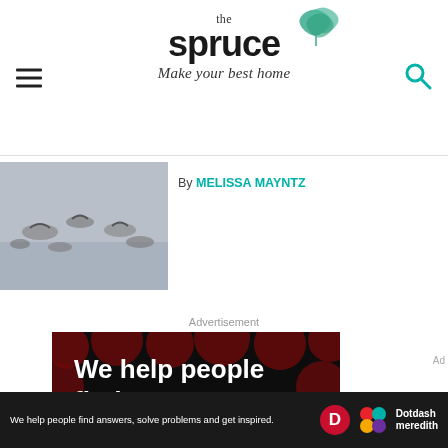the spruce — Make your best home
[Figure (photo): Photo of seagulls/birds on water, grayscale]
By MELISSA MAYNTZ
Advertisement
[Figure (infographic): Dotdash Meredith advertisement: black background with dark red polka dots. White bold text: We help people find answers, solve problems and get inspired. Red period. LEARN MORE arrow. Logos at bottom right.]
[Figure (infographic): Bottom sticky ad bar: We help people find answers, solve problems and get inspired. Dotdash Meredith logo.]